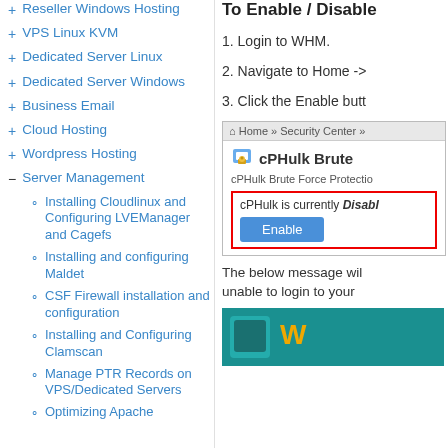+ Reseller Windows Hosting
+ VPS Linux KVM
+ Dedicated Server Linux
+ Dedicated Server Windows
+ Business Email
+ Cloud Hosting
+ Wordpress Hosting
- Server Management
o Installing Cloudlinux and Configuring LVEManager and Cagefs
o Installing and configuring Maldet
o CSF Firewall installation and configuration
o Installing and Configuring Clamscan
o Manage PTR Records on VPS/Dedicated Servers
o Optimizing Apache
To Enable / Disable
1. Login to WHM.
2. Navigate to Home ->
3. Click the Enable butt
[Figure (screenshot): Screenshot showing cPHulk Brute Force Protection interface in WHM. Shows breadcrumb 'Home » Security Center »', cPHulk Brute Force title with lock icon, description text, a red-bordered box with 'cPHulk is currently Disabled' and an Enable button.]
The below message wil unable to login to your